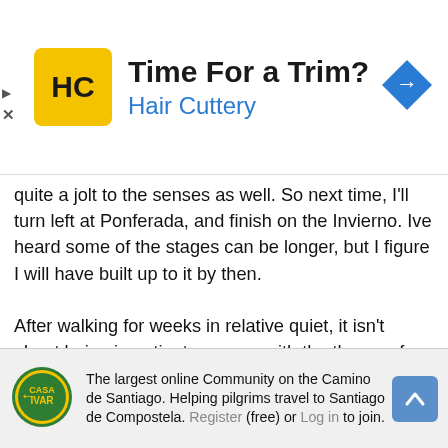[Figure (advertisement): Hair Cuttery ad banner with yellow HC logo, text 'Time For a Trim?' and 'Hair Cuttery' in blue, and a blue navigation/direction diamond icon on the right]
quite a jolt to the senses as well. So next time, I'll turn left at Ponferada, and finish on the Invierno. Ive heard some of the stages can be longer, but I figure I will have built up to it by then.

After walking for weeks in relative quiet, it isn't about being impatient or angry with the throng of people, it is actually so jarring, I feel unsettled, anxious and a bit jumpy. Sort of like waking up and finding you're on another planet. I think made worse by the fact that I walk to Sarria via Samos, which is so tranquil and quiet.
No amount of 'snap out of it' will change that.
I think the older I get the less I am able to exist in crowds.
[Figure (logo): Camino de Santiago / Casa Ivar logo - circular green and yellow emblem with arrow and pilgrim]
The largest online Community on the Camino de Santiago. Helping pilgrims travel to Santiago de Compostela. Register (free) or Log in to join.